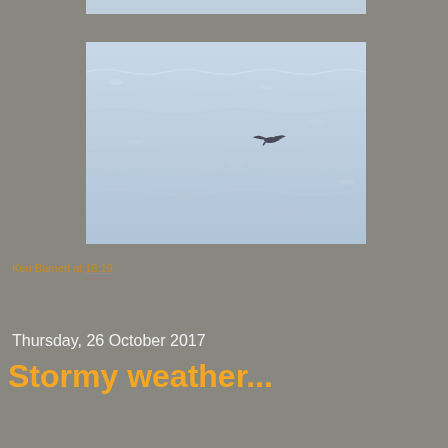[Figure (photo): Partial top strip of a photo showing ocean/water surface, cropped at top of page]
[Figure (photo): A seabird in flight over a choppy blue-grey ocean/sea surface. The bird is small and dark against the light water.]
Ken Barnett at 16:19
Share
Thursday, 26 October 2017
Stormy weather...